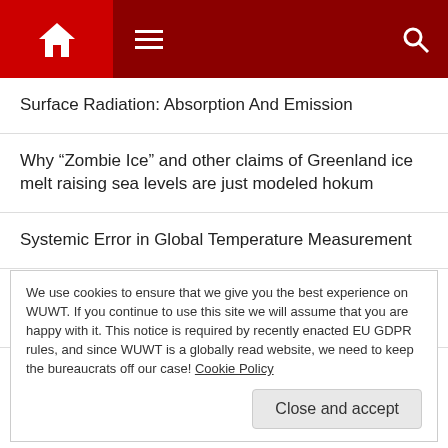WUWT website header with home, menu, and search icons
Surface Radiation: Absorption And Emission
Why “Zombie Ice” and other claims of Greenland ice melt raising sea levels are just modeled hokum
Systemic Error in Global Temperature Measurement
Last WH polar bears ashore even later than 2009 as Hudson Bay finally becomes ice-free
We use cookies to ensure that we give you the best experience on WUWT. If you continue to use this site we will assume that you are happy with it. This notice is required by recently enacted EU GDPR rules, and since WUWT is a globally read website, we need to keep the bureaucrats off our case! Cookie Policy
Close and accept